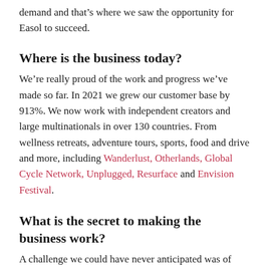demand and that's where we saw the opportunity for Easol to succeed.
Where is the business today?
We're really proud of the work and progress we've made so far. In 2021 we grew our customer base by 913%. We now work with independent creators and large multinationals in over 130 countries. From wellness retreats, adventure tours, sports, food and drive and more, including Wanderlust, Otherlands, Global Cycle Network, Unplugged, Resurface and Envision Festival.
What is the secret to making the business work?
A challenge we could have never anticipated was of course the pandemic which presented a big hurdle for us